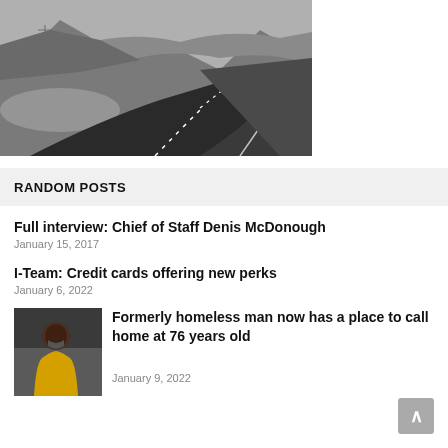[Figure (photo): Black and white photograph of a winding road through hilly landscape with water visible on the left side]
RANDOM POSTS
Full interview: Chief of Staff Denis McDonough
January 15, 2017
I-Team: Credit cards offering new perks
January 6, 2022
[Figure (photo): Thumbnail photo of a man wearing a yellow jacket]
Formerly homeless man now has a place to call home at 76 years old
January 9, 2022